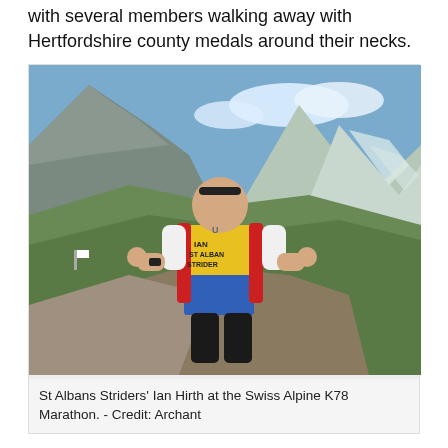with several members walking away with Hertfordshire county medals around their necks.
[Figure (photo): A runner wearing a St Albans Striders vest with a red hydration pack, giving thumbs up on a mountain trail with glaciers and peaks in the background at the Swiss Alpine K78 Marathon.]
St Albans Striders' Ian Hirth at the Swiss Alpine K78 Marathon. - Credit: Archant
More than 50 St Albans Striders took part in the annual 3km road relays round Fairlands Valley Park with the club fielding eight ladies' teams of three runners doing